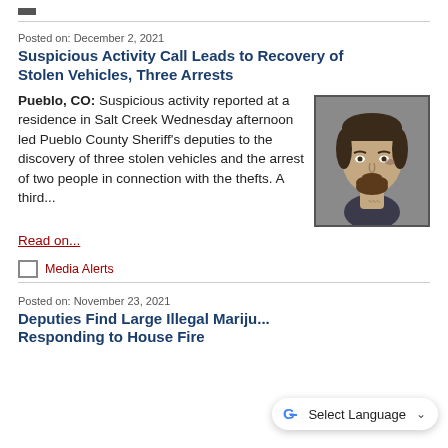Posted on: December 2, 2021
Suspicious Activity Call Leads to Recovery of Stolen Vehicles, Three Arrests
Pueblo, CO: Suspicious activity reported at a residence in Salt Creek Wednesday afternoon led Pueblo County Sheriff's deputies to the discovery of three stolen vehicles and the arrest of two people in connection with the thefts. A third...
[Figure (photo): Mugshot photo of a man with dark hair and beard]
Read on...
Media Alerts
Posted on: November 23, 2021
Deputies Find Large Illegal Mariju... Responding to House Fire
[Figure (screenshot): Google Translate Select Language widget]